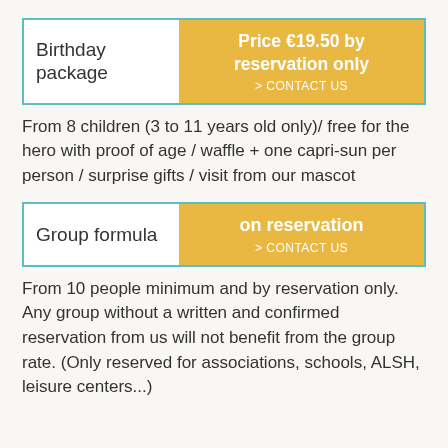| Birthday package | Price €19.50 by reservation only > CONTACT US |
| --- | --- |
From 8 children (3 to 11 years old only)/ free for the hero with proof of age / waffle + one capri-sun per person / surprise gifts / visit from our mascot
| Group formula | on reservation > CONTACT US |
| --- | --- |
From 10 people minimum and by reservation only. Any group without a written and confirmed reservation from us will not benefit from the group rate. (Only reserved for associations, schools, ALSH, leisure centers...)